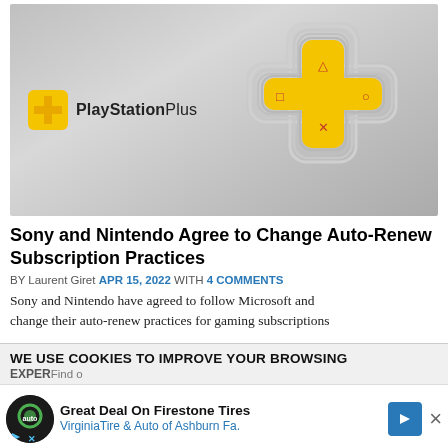[Figure (photo): PlayStation Plus logo and branding image on a gray gradient background, showing the PS Plus gold cross/plus symbol on the right and the PlayStation Plus logo text on the left]
Sony and Nintendo Agree to Change Auto-Renew Subscription Practices
BY Laurent Giret APR 15, 2022 WITH 4 COMMENTS
Sony and Nintendo have agreed to follow Microsoft and change their auto-renew practices for gaming subscriptions
WE USE COOKIES TO IMPROVE YOUR BROWSING EXPER...
[Figure (screenshot): Advertisement banner for Great Deal On Firestone Tires - Virginia Tire & Auto of Ashburn Fa. with logo and arrow icon]